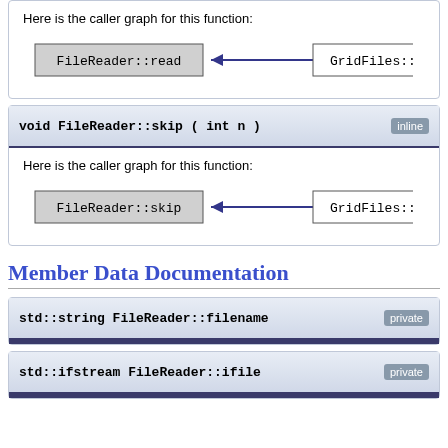[Figure (flowchart): Caller graph showing FileReader::read called by GridFiles::GridFiles with an arrow pointing left]
void FileReader::skip ( int n )  [inline]
Here is the caller graph for this function:
[Figure (flowchart): Caller graph showing FileReader::skip called by GridFiles::GridFiles with an arrow pointing left]
Member Data Documentation
std::string FileReader::filename  [private]
std::ifstream FileReader::ifile  [private]